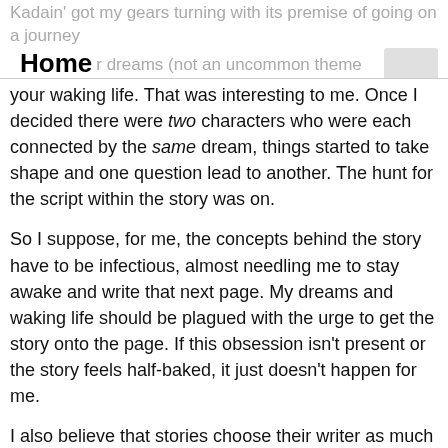Kadain' got my gears turning with its premise of going on a journey through your dreams (not an uncommon theme in literature; Wizard of Oz, Alice in Wonderland) to find answers to a riddle that haunts your waking life.
your waking life. That was interesting to me. Once I decided there were two characters who were each connected by the same dream, things started to take shape and one question lead to another. The hunt for the script within the story was on.
So I suppose, for me, the concepts behind the story have to be infectious, almost needling me to stay awake and write that next page. My dreams and waking life should be plagued with the urge to get the story onto the page. If this obsession isn't present or the story feels half-baked, it just doesn't happen for me.
I also believe that stories choose their writer as much as a writer chooses a story. When I wrote On the Fringe I was compelled to tell the story of these four misfit characters, complete strangers, who come together at a crossing in their lives to share their hardships with each other. The Sleeping Deep was like a worm inside my brain, chewing away at the gray matter, eating my mind… consuming my will to live! I had to rid it from inside, perform an exorcism if I was going to survive. Well, I'm here to tell the story so I guess it worked. In the end, great films inspire me to aim higher. I want to impress my mentors. Time will tell if I achieve any